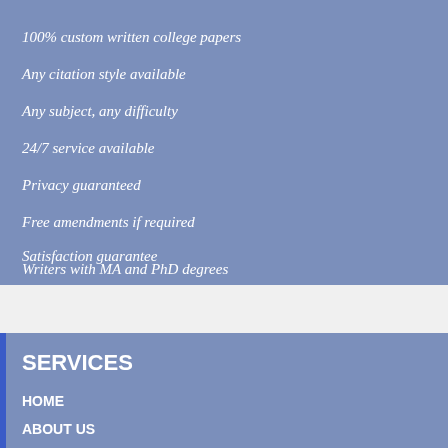100% custom written college papers
Any citation style available
Any subject, any difficulty
24/7 service available
Privacy guaranteed
Free amendments if required
Satisfaction guarantee
Writers with MA and PhD degrees
SERVICES
HOME
ABOUT US